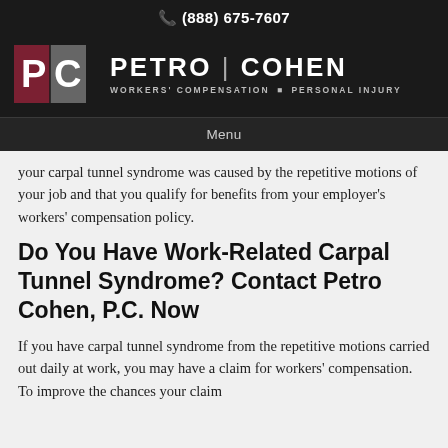📞 (888) 675-7607
[Figure (logo): Petro Cohen PC logo with two-tone P|C squares and firm name. Workers' Compensation • Personal Injury]
Menu
your carpal tunnel syndrome was caused by the repetitive motions of your job and that you qualify for benefits from your employer's workers' compensation policy.
Do You Have Work-Related Carpal Tunnel Syndrome? Contact Petro Cohen, P.C. Now
If you have carpal tunnel syndrome from the repetitive motions carried out daily at work, you may have a claim for workers' compensation. To improve the chances your claim